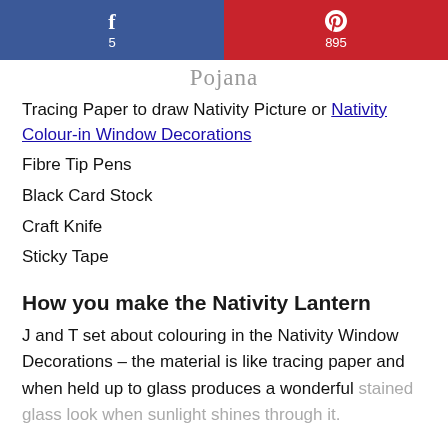[Figure (other): Social sharing buttons: Facebook (f, 5) in blue and Pinterest (P, 895) in red]
[Figure (other): Handwritten signature/logo in grey cursive script]
Tracing Paper to draw Nativity Picture or Nativity Colour-in Window Decorations
Fibre Tip Pens
Black Card Stock
Craft Knife
Sticky Tape
How you make the Nativity Lantern
J and T set about colouring in the Nativity Window Decorations – the material is like tracing paper and when held up to glass produces a wonderful stained glass look when sunlight shines through it.